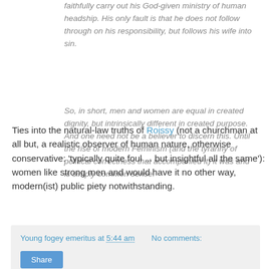faithfully carry out his God-given ministry of human headship. His only fault is that he does not follow through on his responsibility, but follows his wife into sin.
So, in short, men and women are equal in created dignity, but intrinsically different in created purpose. And one need not be a believer to discern this. Until the rise of modern Feminism (and the tyranny of political correctness that accompanied it) it was and is simply common sense.
Ties into the natural-law truths of Roissy (not a churchman at all but, a realistic observer of human nature, otherwise conservative: 'typically quite foul ... but insightful all the same'): women like strong men and would have it no other way, modern(ist) public piety notwithstanding.
Young fogey emeritus at 5:44 am   No comments:   Share